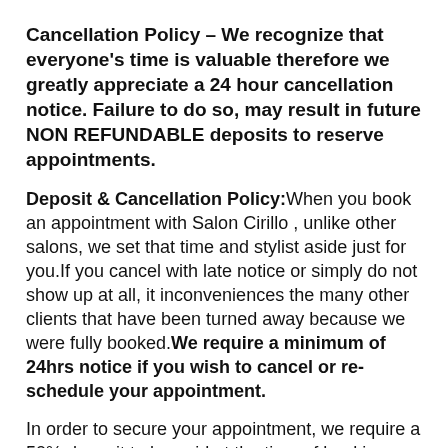Cancellation Policy – We recognize that everyone's time is valuable therefore we greatly appreciate a 24 hour cancellation notice. Failure to do so, may result in future NON REFUNDABLE deposits to reserve appointments.
Deposit & Cancellation Policy: When you book an appointment with Salon Cirillo , unlike other salons, we set that time and stylist aside just for you.If you cancel with late notice or simply do not show up at all, it inconveniences the many other clients that have been turned away because we were fully booked. We require a minimum of 24hrs notice if you wish to cancel or re-schedule your appointment.
In order to secure your appointment, we require a 50% deposit to be paid at the time of booking.